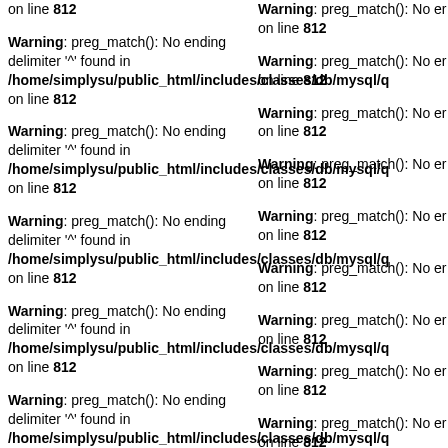on line 812
Warning: preg_match(): No ending delimiter '^' found in /home/simplysu/public_html/includes/classes/db/mysql/q on line 812
Warning: preg_match(): No ending delimiter '^' found in /home/simplysu/public_html/includes/classes/db/mysql/q on line 812
Warning: preg_match(): No ending delimiter '^' found in /home/simplysu/public_html/includes/classes/db/mysql/q on line 812
Warning: preg_match(): No ending delimiter '^' found in /home/simplysu/public_html/includes/classes/db/mysql/q on line 812
Warning: preg_match(): No ending delimiter '^' found in /home/simplysu/public_html/includes/classes/db/mysql/q on line 812
Warning: preg_match(): No er on line 812
Warning: preg_match(): No er on line 812
Warning: preg_match(): No er on line 812
Warning: preg_match(): No er on line 812
Warning: preg_match(): No er on line 812
Warning: preg_match(): No er on line 812
Warning: preg_match(): No er on line 812
Warning: preg_match(): No er on line 812
Warning: preg_match(): No er on line 812